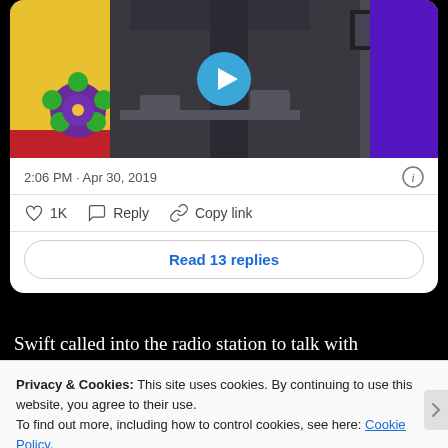[Figure (screenshot): Social media post video thumbnail showing indoor venue with colorful overlay (flower illustration bottom-left, purple shape right), with blue circular play button overlaid in center]
2:06 PM · Apr 30, 2019
1K  Reply  Copy link
Read 13 replies
Swift called into the radio station to talk with
Privacy & Cookies: This site uses cookies. By continuing to use this website, you agree to their use.
To find out more, including how to control cookies, see here: Cookie Policy
Close and accept